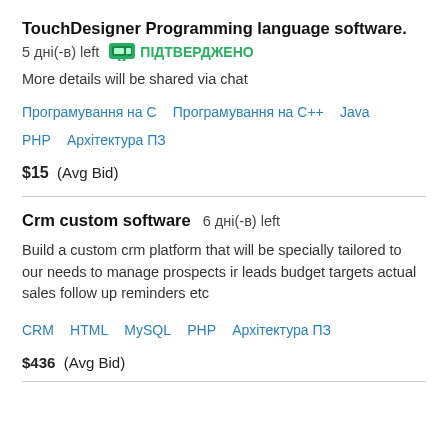TouchDesigner Programming language software.
5 дні(-в) left  ПІДТВЕРДЖЕНО
More details will be shared via chat
Програмування на С   Програмування на С++   Java   PHP   Архітектура ПЗ
$15  (Avg Bid)
Crm custom software  6 дні(-в) left
Build a custom crm platform that will be specially tailored to our needs to manage prospects ir leads budget targets actual sales follow up reminders etc
CRM   HTML   MySQL   PHP   Архітектура ПЗ
$436  (Avg Bid)